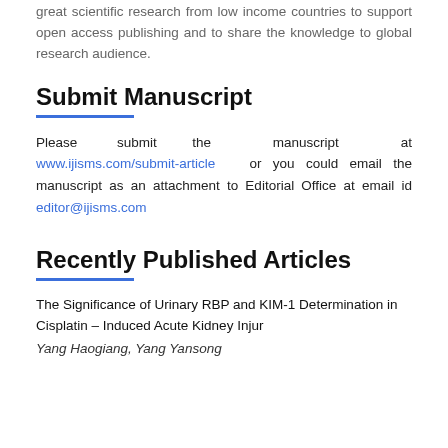great scientific research from low income countries to support open access publishing and to share the knowledge to global research audience.
Submit Manuscript
Please submit the manuscript at www.ijisms.com/submit-article or you could email the manuscript as an attachment to Editorial Office at email id editor@ijisms.com
Recently Published Articles
The Significance of Urinary RBP and KIM-1 Determination in Cisplatin – Induced Acute Kidney Injur
Yang Haogiang, Yang Yansong